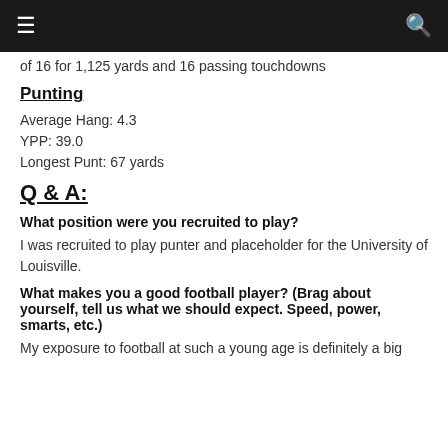☰  🔍
of 16 for 1,125 yards and 16 passing touchdowns
Punting
Average Hang: 4.3
YPP: 39.0
Longest Punt: 67 yards
Q & A:
What position were you recruited to play?
I was recruited to play punter and placeholder for the University of Louisville.
What makes you a good football player? (Brag about yourself, tell us what we should expect. Speed, power, smarts, etc.)
My exposure to football at such a young age is definitely a big